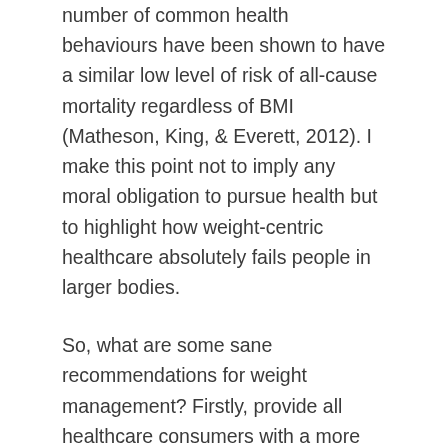number of common health behaviours have been shown to have a similar low level of risk of all-cause mortality regardless of BMI (Matheson, King, & Everett, 2012). I make this point not to imply any moral obligation to pursue health but to highlight how weight-centric healthcare absolutely fails people in larger bodies.
So, what are some sane recommendations for weight management? Firstly, provide all healthcare consumers with a more sophisticated assessment of their individual health risk than BMI. Next, abandon intentional weight loss to the ‘Wellness Gurus’, who are the true experts in cherry-picking the research and ignoring the evidence. Finally, both healthcare consumers and providers should replace the pursuit of